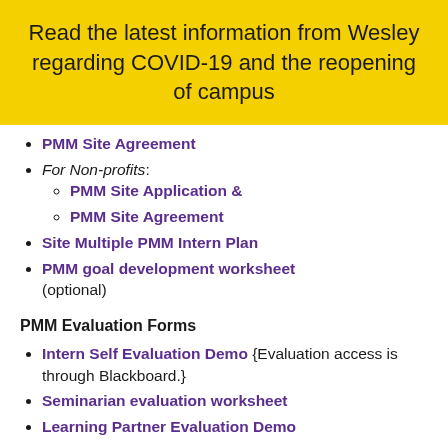Read the latest information from Wesley regarding COVID-19 and the reopening of campus
PMM Site Agreement
For Non-profits:
PMM Site Application &
PMM Site Agreement
Site Multiple PMM Intern Plan
PMM goal development worksheet (optional)
PMM Evaluation Forms
Intern Self Evaluation Demo {Evaluation access is through Blackboard.}
Seminarian evaluation worksheet
Learning Partner Evaluation Demo